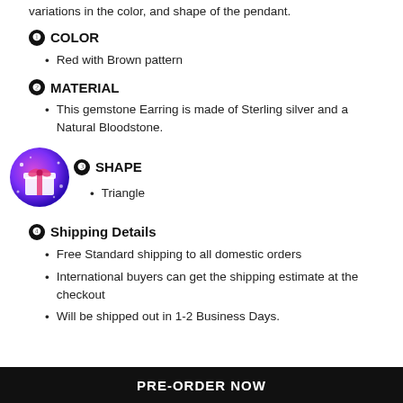variations in the color, and shape of the pendant.
❶ COLOR
Red with Brown pattern
❷ MATERIAL
This gemstone Earring is made of Sterling silver and a Natural Bloodstone.
❸ SHAPE
Triangle
❹ Shipping Details
Free Standard shipping to all domestic orders
International buyers can get the shipping estimate at the checkout
Will be shipped out in 1-2 Business Days.
PRE-ORDER NOW